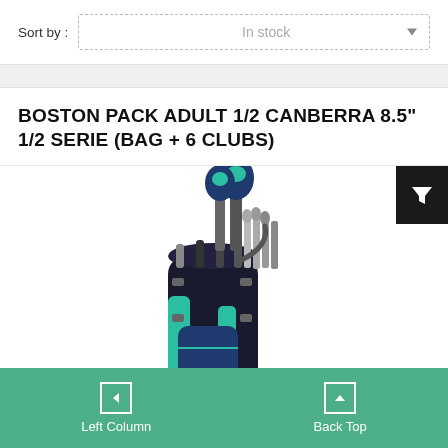Sort by :
In stock
BOSTON PACK ADULT 1/2 CANBERRA 8.5" 1/2 SERIE (BAG + 6 CLUBS)
[Figure (photo): Golf bag with clubs - dark navy and teal colored stand bag with multiple golf clubs including woods with teal/navy headcovers]
Left Column   Back Top